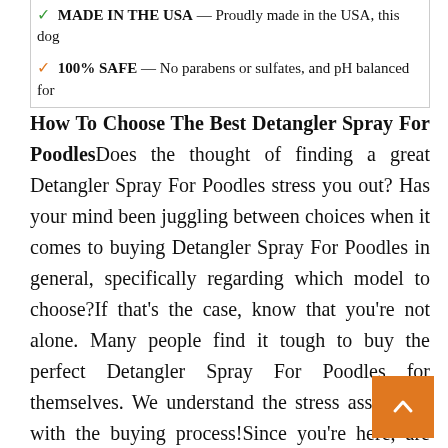| ✓ MADE IN THE USA — Proudly made in the USA, this dog |
| ✓ 100% SAFE — No parabens or sulfates, and pH balanced for |
How To Choose The Best Detangler Spray For PoodlesDoes the thought of finding a great Detangler Spray For Poodles stress you out? Has your mind been juggling between choices when it comes to buying Detangler Spray For Poodles in general, specifically regarding which model to choose?If that's the case, know that you're not alone. Many people find it tough to buy the perfect Detangler Spray For Poodles for themselves. We understand the stress associated with the buying process!Since you're here, are obviously curious about Detangler Spray Poodles. You've been bombarded with